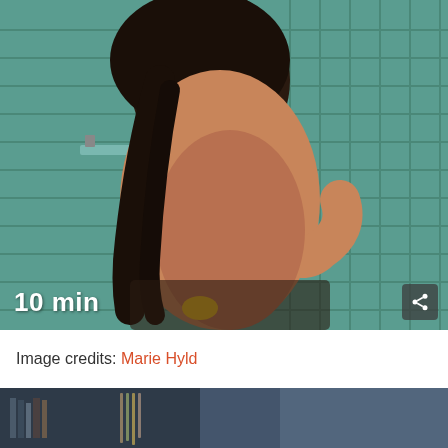[Figure (photo): Two people embracing in a shower with green/teal tiled walls. The figures are wet with dark hair visible. A duration label '10 min' appears in the lower left corner and a share icon in the lower right.]
Image credits: Marie Hyld
[Figure (photo): Partial view of a dark interior scene, partially cropped at bottom of page.]